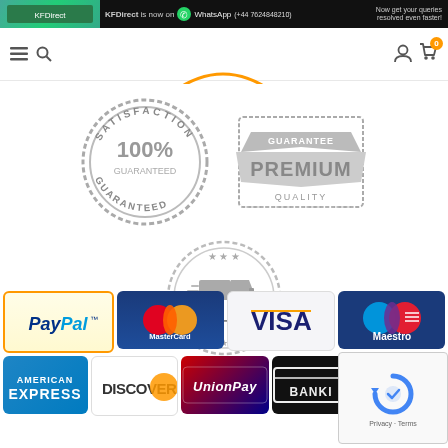KFDirect is now on WhatsApp (+44 7624848210) Now get your queries resolved even faster!
[Figure (logo): KFDirect.co.uk logo with orange arc above KF in orange and Direct in dark grey]
[Figure (illustration): 100% Satisfaction Guaranteed stamp badge in grey]
[Figure (illustration): Guarantee Premium Quality badge in grey]
[Figure (illustration): Free Shipping badge with delivery truck in grey]
[Figure (illustration): PayPal payment logo]
[Figure (illustration): MasterCard payment logo]
[Figure (illustration): VISA payment logo]
[Figure (illustration): Maestro payment logo]
[Figure (illustration): American Express payment logo]
[Figure (illustration): Discover payment logo]
[Figure (illustration): UnionPay payment logo]
[Figure (illustration): Bank transfer payment logo]